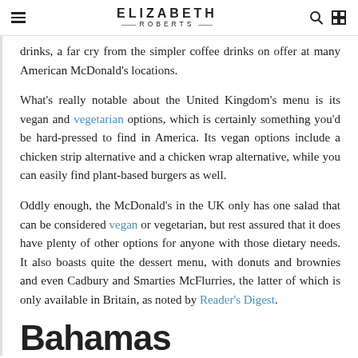ELIZABETH ROBERTS
drinks, a far cry from the simpler coffee drinks on offer at many American McDonald's locations.
What's really notable about the United Kingdom's menu is its vegan and vegetarian options, which is certainly something you'd be hard-pressed to find in America. Its vegan options include a chicken strip alternative and a chicken wrap alternative, while you can easily find plant-based burgers as well.
Oddly enough, the McDonald's in the UK only has one salad that can be considered vegan or vegetarian, but rest assured that it does have plenty of other options for anyone with those dietary needs. It also boasts quite the dessert menu, with donuts and brownies and even Cadbury and Smarties McFlurries, the latter of which is only available in Britain, as noted by Reader's Digest.
Bahamas